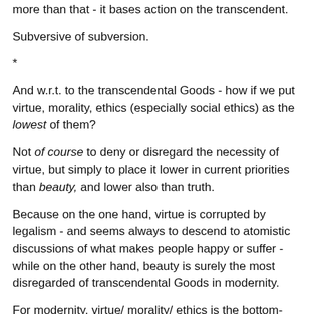more than that - it bases action on the transcendent.
Subversive of subversion.
*
And w.r.t. to the transcendental Goods - how if we put virtue, morality, ethics (especially social ethics) as the lowest of them?
Not of course to deny or disregard the necessity of virtue, but simply to place it lower in current priorities than beauty, and lower also than truth.
Because on the one hand, virtue is corrupted by legalism - and seems always to descend to atomistic discussions of what makes people happy or suffer - while on the other hand, beauty is surely the most disregarded of transcendental Goods in modernity.
For modernity, virtue/ morality/ ethics is the bottom-line, be-all and end-all of the human condition (or rather, the project of subversion of traditional concepts of virtue is this...